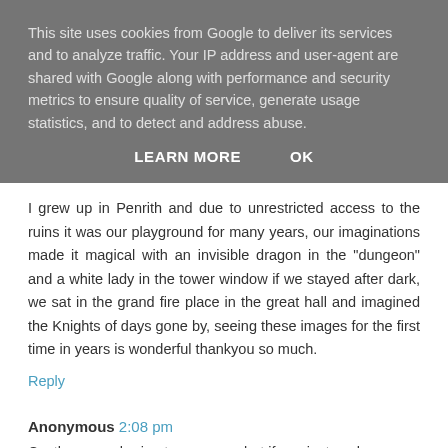This site uses cookies from Google to deliver its services and to analyze traffic. Your IP address and user-agent are shared with Google along with performance and security metrics to ensure quality of service, generate usage statistics, and to detect and address abuse.
LEARN MORE    OK
I grew up in Penrith and due to unrestricted access to the ruins it was our playground for many years, our imaginations made it magical with an invisible dragon in the "dungeon" and a white lady in the tower window if we stayed after dark, we sat in the grand fire place in the great hall and imagined the Knights of days gone by, seeing these images for the first time in years is wonderful thankyou so much.
Reply
Anonymous 2:08 pm
Castles seem boring to everyone but if you just explore